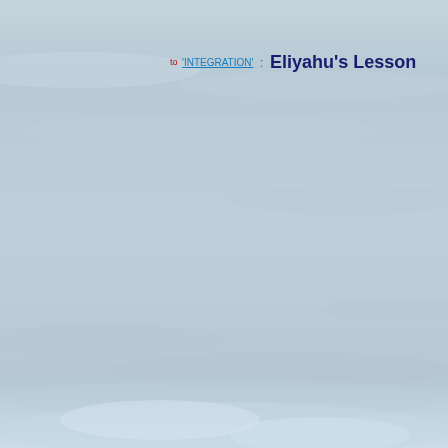[Figure (photo): Sky photograph showing blue-grey cloudy sky with layered clouds, used as page background]
to 'INTEGRATION' : Eliyahu's Lesson    or to how ...